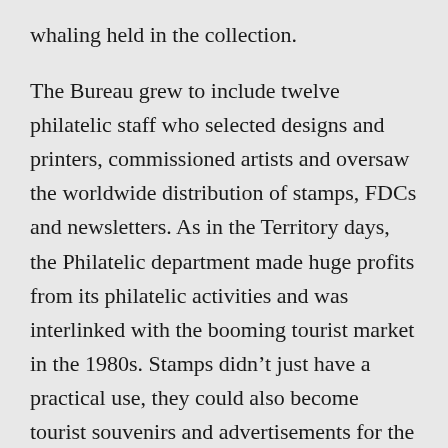whaling held in the collection.
The Bureau grew to include twelve philatelic staff who selected designs and printers, commissioned artists and oversaw the worldwide distribution of stamps, FDCs and newsletters. As in the Territory days, the Philatelic department made huge profits from its philatelic activities and was interlinked with the booming tourist market in the 1980s. Stamps didn’t just have a practical use, they could also become tourist souvenirs and advertisements for the Island. The Philatelic Bureau did not just manage requests regarding stamp collecting but also unique postmarks. When a postage stamp is marked in the mail it